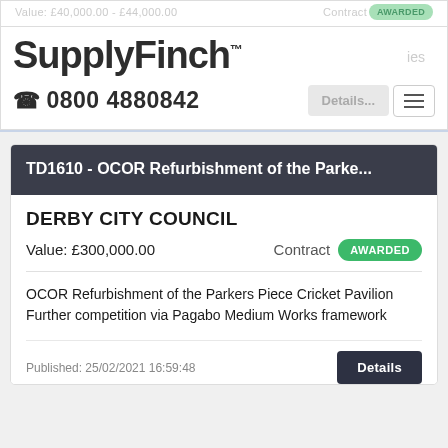Value: £40,000.00 - £44,000.00   Contract [AWARDED]
[Figure (logo): SupplyFinch logo with TM mark]
☎ 0800 4880842
TD1610 - OCOR Refurbishment of the Parke...
DERBY CITY COUNCIL
Value: £300,000.00   Contract AWARDED
OCOR Refurbishment of the Parkers Piece Cricket Pavilion Further competition via Pagabo Medium Works framework
Published: 25/02/2021 16:59:48